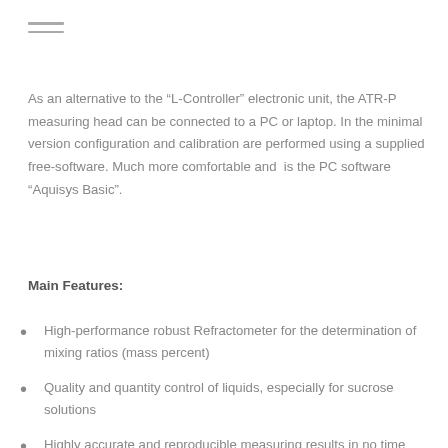≡
As an alternative to the “L-Controller” electronic unit, the ATR-P measuring head can be connected to a PC or laptop. In the minimal version configuration and calibration are performed using a supplied free-software. Much more comfortable and  is the PC software “Aquisys Basic”.
Main Features:
High-performance robust Refractometer for the determination of mixing ratios (mass percent)
Quality and quantity control of liquids, especially for sucrose solutions
Highly accurate and reproducible measuring results in no time